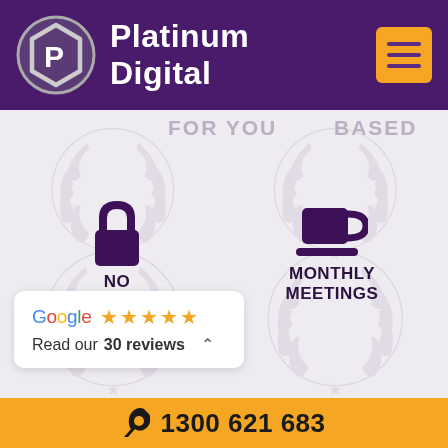[Figure (logo): Platinum Digital company logo with hexagon P icon and brand name]
FOR YOU
BASED
[Figure (illustration): Laurel wreath watermark circles in background with feature icons: lock icon labeled NO LOCK-INS and coffee cup icon labeled MONTHLY MEETINGS]
NO LOCK-INS
MONTHLY MEETINGS
Google ★★★★☆ Read our 30 reviews
1300 621 683